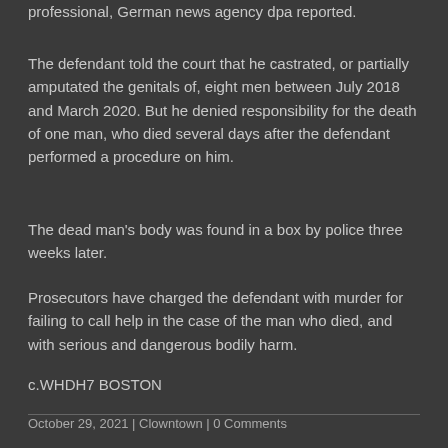professional, German news agency dpa reported.
The defendant told the court that he castrated, or partially amputated the genitals of, eight men between July 2018 and March 2020. But he denied responsibility for the death of one man, who died several days after the defendant performed a procedure on him.
The dead man's body was found in a box by police three weeks later.
Prosecutors have charged the defendant with murder for failing to call help in the case of the man who died, and with serious and dangerous bodily harm.
c.WHDH7 BOSTON
October 29, 2021 | Clowntown | 0 Comments